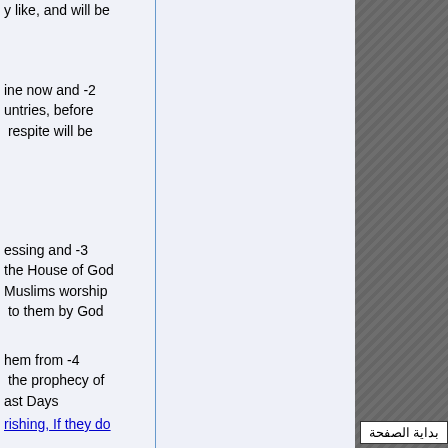y like, and will be
ine now and -2
untries, before
respite will be
essing and -3
the House of God
Muslims worship
to them by God
hem from -4
the prophecy of
ast Days
rishing, If they do
بداية الصفحة